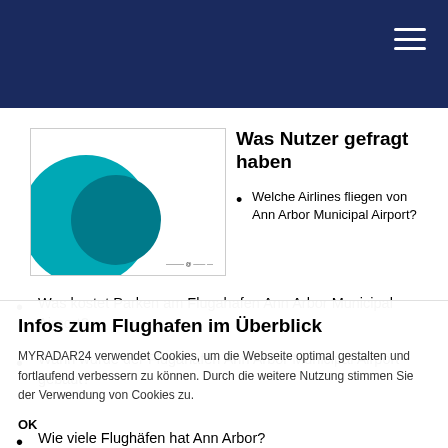[Figure (illustration): Teal and dark teal overlapping circles on white background, app/logo style image with small caption text at bottom right]
Was Nutzer gefragt haben
Welche Airlines fliegen von Ann Arbor Municipal Airport?
Was kostet Parken am Flugahafen Ann Arbor Municipal Airport?
Wann wurde der Flugahafen Ann Arbor Municipal Airport gebaut?
Wie viele Flughäfen hat Ann Arbor?
Infos zum Flughafen im Überblick
MYRADAR24 verwendet Cookies, um die Webseite optimal gestalten und fortlaufend verbessern zu können. Durch die weitere Nutzung stimmen Sie der Verwendung von Cookies zu.
OK